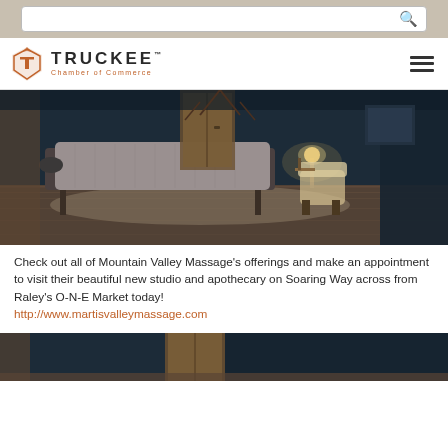Search bar and navigation header for Truckee Chamber of Commerce
[Figure (photo): Interior of a massage therapy room with a massage table draped in gray linens, dark navy blue walls, warm wood accents, a lit lamp, and a furry chair in the background.]
Check out all of Mountain Valley Massage's offerings and make an appointment to visit their beautiful new studio and apothecary on Soaring Way across from Raley's O-N-E Market today! http://www.martisvalleymassage.com
[Figure (photo): Bottom portion of another interior room photo, partially visible, showing dark walls and wooden door.]